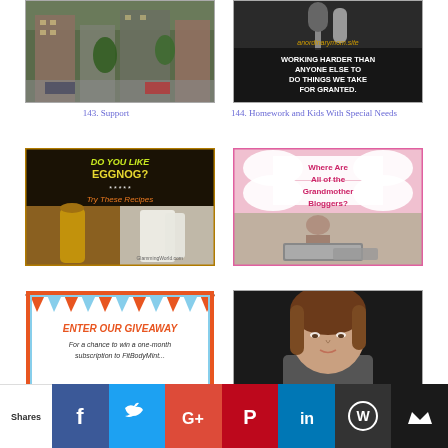[Figure (photo): Street scene with buildings and parked cars]
143. Support
[Figure (photo): anordinarymom.site - microphone/podcast image with text: WORKING HARDER THAN ANYONE ELSE TO DO THINGS WE TAKE FOR GRANTED.]
144. Homework and Kids With Special Needs
[Figure (photo): Do you like eggnog? Try These Recipes - collage with eggnog drink images, GlammingWorld.com]
145. 3 EGGNOG RECIPES
[Figure (photo): Where Are All of the Grandmother Bloggers? - person at laptop image]
146. WHERE ARE THe BLOGGING GRANDMOTHERS?
[Figure (photo): ENTER OUR GIVEAWAY - For a chance to win a one-month... (orange/blue bunting banner)]
[Figure (photo): Woman portrait photo, brown hair]
Shares